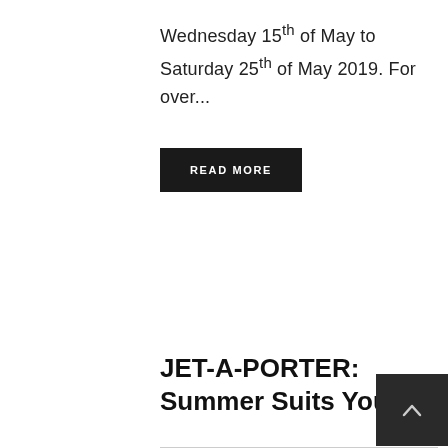Wednesday 15th of May to Saturday 25th of May 2019. For over...
READ MORE
JET-A-PORTER: Summer Suits You